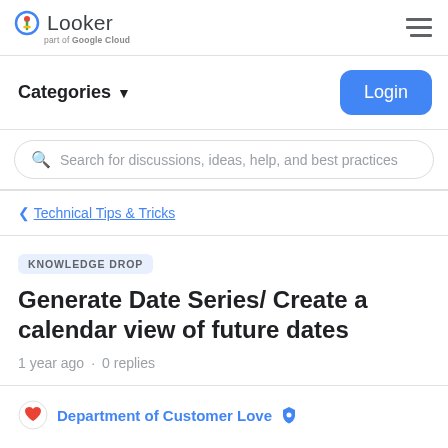Looker part of Google Cloud
Categories ▾
Login
Search for discussions, ideas, help, and best practices
< Technical Tips & Tricks
KNOWLEDGE DROP
Generate Date Series/ Create a calendar view of future dates
1 year ago · 0 replies
Department of Customer Love